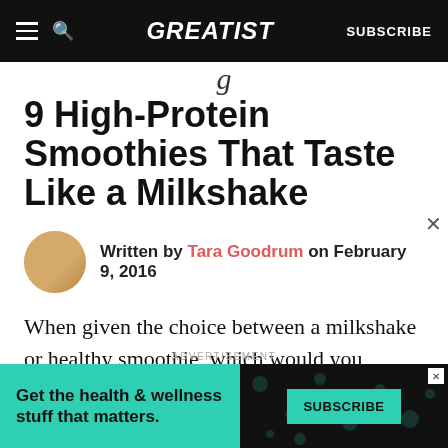GREATIST — SUBSCRIBE
9 High-Protein Smoothies That Taste Like a Milkshake
Written by Tara Goodrum on February 9, 2016
When given the choice between a milkshake or healthy smoothie, which would you choose? If I were faced with this dilemma, one of two things would happen. In the first scenario, I'd pick the smoothie without hesitation, convincing myself:
[Figure (other): Advertisement banner: 'Get the health & wellness stuff that matters.' with a SUBSCRIBE button, teal and dark background with decorative food icons]